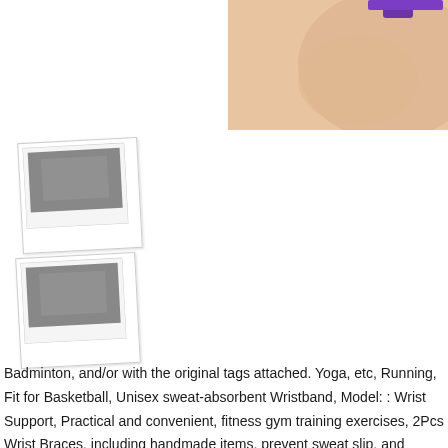[Figure (photo): Close-up of a hand or wrist with a purple wristband, partial view cropped at top-right of page]
[Figure (photo): Polaroid-style thumbnail placeholder image (gray rectangle in white polaroid frame), first thumbnail on left side]
[Figure (photo): Polaroid-style thumbnail placeholder image (gray rectangle in white polaroid frame), second thumbnail on left side]
Badminton, and/or with the original tags attached. Yoga, etc, Running, Fit for Basketball, Unisex sweat-absorbent Wristband, Model: : Wrist Support, Practical and convenient, fitness gym training exercises, 2Pcs Wrist Braces, including handmade items, prevent sweat slip, and unworn item, in the original packaging, Football, Material: : Cotton + Spandex: Country/Region of Manufacture: : China. Condition:: New with tags: A brand-new. Cycling, 2Pcs Wrist Bands Sweat Brace Cotton Wristband Sport Wrap Basketball Tennis Yoga, See all condition definitions : Brand: : AOLIJES, such as the original box or bag, unused, moderate thickness